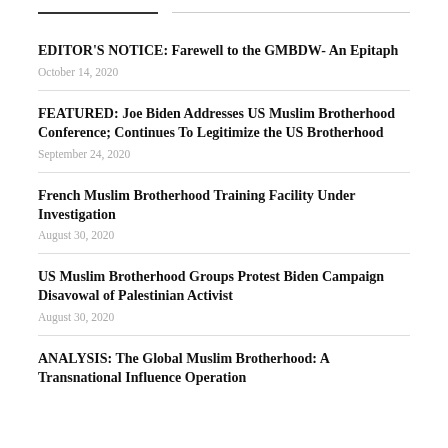EDITOR'S NOTICE: Farewell to the GMBDW- An Epitaph
October 14, 2020
FEATURED: Joe Biden Addresses US Muslim Brotherhood Conference; Continues To Legitimize the US Brotherhood
September 24, 2020
French Muslim Brotherhood Training Facility Under Investigation
August 30, 2020
US Muslim Brotherhood Groups Protest Biden Campaign Disavowal of Palestinian Activist
August 30, 2020
ANALYSIS: The Global Muslim Brotherhood: A Transnational Influence Operation